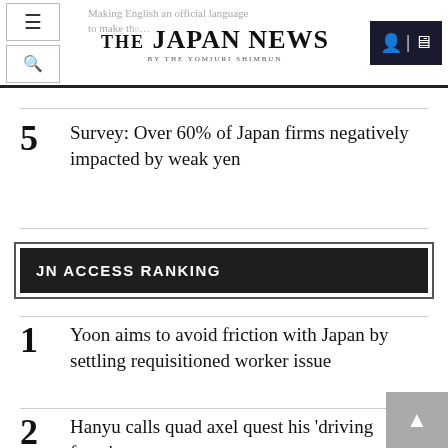THE JAPAN NEWS BY THE YOMIURI SHIMBUN
Making English an official language to make the...
5 Survey: Over 60% of Japan firms negatively impacted by weak yen
JN ACCESS RANKING
1 Yoon aims to avoid friction with Japan by settling requisitioned worker issue
2 Hanyu calls quad axel quest his 'driving force'